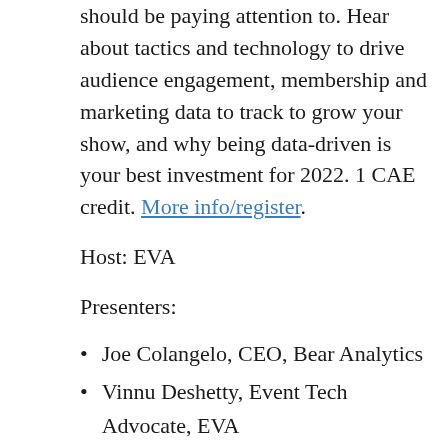should be paying attention to. Hear about tactics and technology to drive audience engagement, membership and marketing data to track to grow your show, and why being data-driven is your best investment for 2022. 1 CAE credit. More info/register.
Host: EVA
Presenters:
Joe Colangelo, CEO, Bear Analytics
Vinnu Deshetty, Event Tech Advocate, EVA
Wed 6/22 at 2 p.m. – Workplace Wellness –